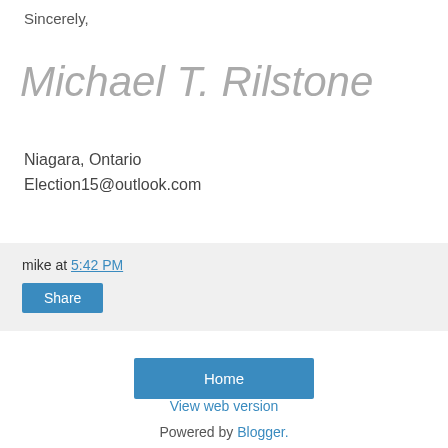Sincerely,
Michael T. Rilstone
Niagara, Ontario
Election15@outlook.com
mike at 5:42 PM
Share
Home
View web version
Powered by Blogger.